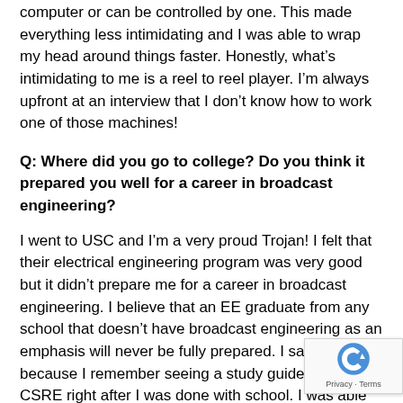computer or can be controlled by one. This made everything less intimidating and I was able to wrap my head around things faster. Honestly, what's intimidating to me is a reel to reel player. I'm always upfront at an interview that I don't know how to work one of those machines!
Q: Where did you go to college? Do you think it prepared you well for a career in broadcast engineering?
I went to USC and I'm a very proud Trojan! I felt that their electrical engineering program was very good but it didn't prepare me for a career in broadcast engineering. I believe that an EE graduate from any school that doesn't have broadcast engineering as an emphasis will never be fully prepared. I say this because I remember seeing a study guide for the CSRE right after I was done with school. I was able to answer the questions that were IT or circuit related, but knew nothing when it came to FCC rules.